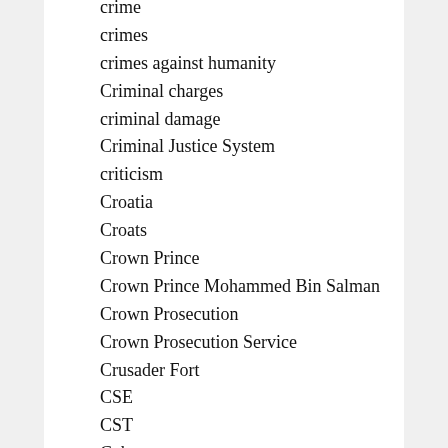crime
crimes
crimes against humanity
Criminal charges
criminal damage
Criminal Justice System
criticism
Croatia
Croats
Crown Prince
Crown Prince Mohammed Bin Salman
Crown Prosecution
Crown Prosecution Service
Crusader Fort
CSE
CST
Cuba
cult